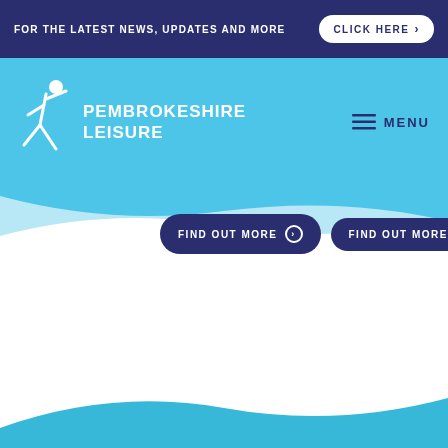FOR THE LATEST NEWS, UPDATES AND MORE   CLICK HERE ›
[Figure (logo): Pembrokeshire Leisure logo with stick figure and text PEMBROKESHIRE LEISURE]
≡ MENU
[Figure (screenshot): Wave background section with two FIND OUT MORE buttons]
Pembrokeshire County Council
County Hall
Haverfordwest
Pembrokeshire
SA61 1TP
[Figure (logo): Pembrokeshire County Council circular badge/seal on green ribbon]